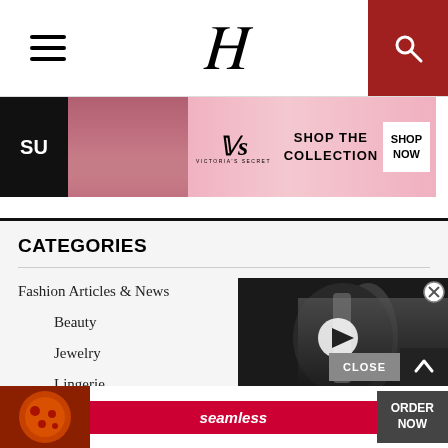H (logo header with hamburger menu and search)
[Figure (photo): Victoria's Secret advertisement banner: model photo, VS logo, SHOP THE COLLECTION text, SHOP NOW button]
CATEGORIES
Fashion Articles & News
Beauty
Jewelry
Lingerie
Men (63)
Watch (11)
Fashion Show Reviews
Fragrance (392)
[Figure (screenshot): Video overlay showing fashion model on runway with play button, close X button]
[Figure (photo): Seamless food delivery advertisement: pizza image, seamless logo, ORDER NOW button]